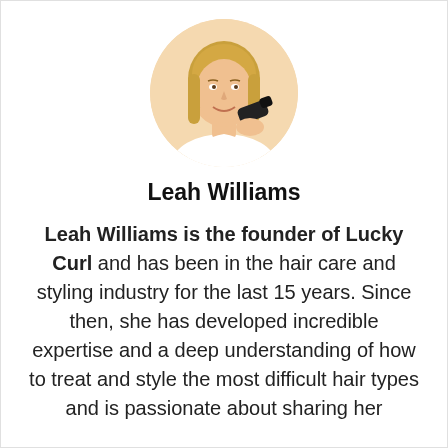[Figure (photo): Circular profile photo of a smiling blonde woman holding a black hair dryer, wearing a white top, on a peach/beige background.]
Leah Williams
Leah Williams is the founder of Lucky Curl and has been in the hair care and styling industry for the last 15 years. Since then, she has developed incredible expertise and a deep understanding of how to treat and style the most difficult hair types and is passionate about sharing her